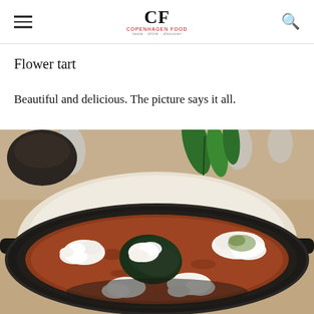CF Copenhagen FOOD
Flower tart
Beautiful and delicious. The picture says it all.
[Figure (photo): A black cast-iron skillet pan filled with a dish topped with white crumbled cheese, dark cooked greens in the center, and reddish spiced base, garnished with green herbs. Glassware and white napkins visible in background on a restaurant table.]